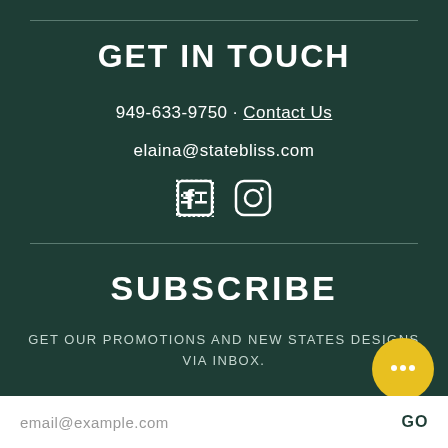GET IN TOUCH
949-633-9750 · Contact Us
elaina@statebliss.com
[Figure (illustration): Facebook and Instagram social media icons]
SUBSCRIBE
GET OUR PROMOTIONS AND NEW STATES DESIGNS VIA INBOX.
email@example.com
GO